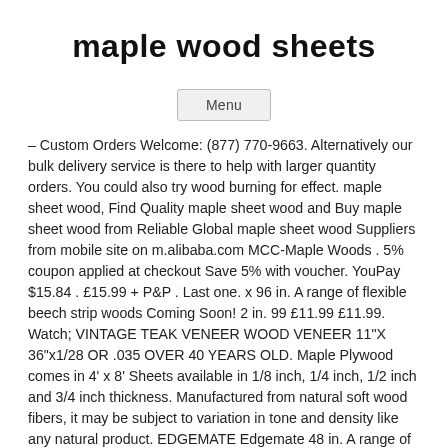maple wood sheets
Menu
– Custom Orders Welcome: (877) 770-9663. Alternatively our bulk delivery service is there to help with larger quantity orders. You could also try wood burning for effect. maple sheet wood, Find Quality maple sheet wood and Buy maple sheet wood from Reliable Global maple sheet wood Suppliers from mobile site on m.alibaba.com MCC-Maple Woods . 5% coupon applied at checkout Save 5% with voucher. YouPay $15.84 . £15.99 + P&P . Last one. x 96 in. A range of flexible beech strip woods Coming Soon! 2 in. 99 £11.99 £11.99. Watch; VINTAGE TEAK VENEER WOOD VENEER 11"X 36"x1/28 OR .035 OVER 40 YEARS OLD. Maple Plywood comes in 4' x 8' Sheets available in 1/8 inch, 1/4 inch, 1/2 inch and 3/4 inch thickness. Manufactured from natural soft wood fibers, it may be subject to variation in tone and density like any natural product. EDGEMATE Edgemate 48 in. A range of tanganyika solid sheet and strip woods. 12.5 x 100, 5 Sheets. 0. Ideal for a wide variety of construction and woodwork applications which are likely to see a lot of use. Depending on the laser settings, engraving effects can range from a subtle light brown effect to intense dark colors. Our Maple Wood Veneer is a creamy white veneer with a reddish tinge, sometimes with a dark brown heart. FREE Shipping by Amazon . Part Number